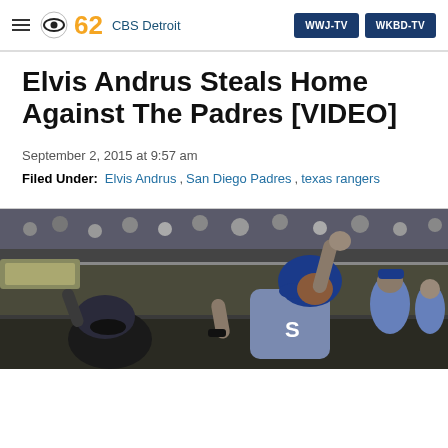CBS 62 CBS Detroit | WWJ-TV | WKBD-TV
Elvis Andrus Steals Home Against The Padres [VIDEO]
September 2, 2015 at 9:57 am
Filed Under: Elvis Andrus, San Diego Padres, texas rangers
[Figure (photo): Baseball player celebrating at home plate with arms raised, wearing blue uniform with 'S' visible, catcher in foreground, crowd in background at night game]